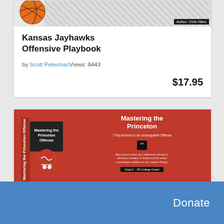[Figure (photo): Kansas Jayhawks Offensive Playbook book cover with basketball image and hatched background, 'Author: Chris Hikes' badge]
Kansas Jayhawks Offensive Playbook
by Scott PetermanViews: 8443
$17.95
[Figure (photo): Mastering the Princeton Offense book cover - orange/red book with title text and quote]
Mastering the Princeton Offense -...
Donate